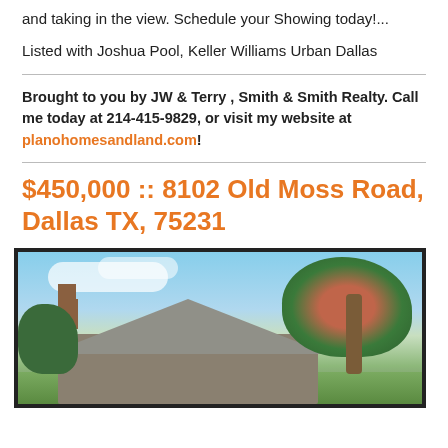and taking in the view. Schedule your Showing today!...
Listed with Joshua Pool, Keller Williams Urban Dallas
Brought to you by JW & Terry , Smith & Smith Realty. Call me today at 214-415-9829, or visit my website at planohomesandland.com!
$450,000 :: 8102 Old Moss Road, Dallas TX, 75231
[Figure (photo): Exterior photo of a house with a gray roof, brick facade, and a large flowering crepe myrtle tree on the right. Blue sky with clouds in background.]